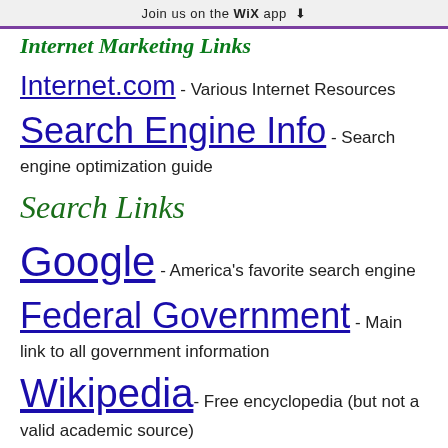Join us on the WiX app ⬇
Internet Marketing Links
Internet.com - Various Internet Resources
Search Engine Info - Search engine optimization guide
Search Links
Google - America's favorite search engine
Federal Government - Main link to all government information
Wikipedia - Free encyclopedia (but not a valid academic source)
Advertising Links